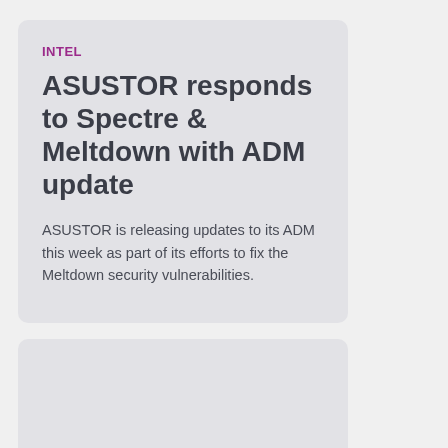INTEL
ASUSTOR responds to Spectre & Meltdown with ADM update
ASUSTOR is releasing updates to its ADM this week as part of its efforts to fix the Meltdown security vulnerabilities.
[Figure (other): Empty grey card placeholder at the bottom of the page]